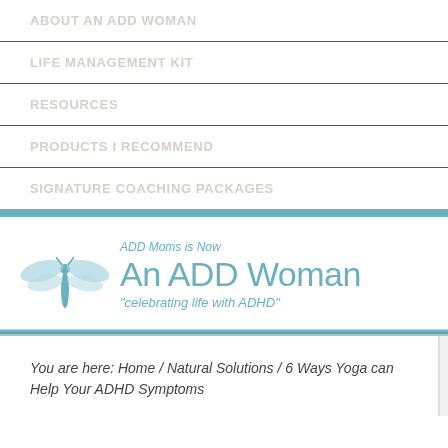ABOUT AN ADD WOMAN
LIFE MANAGEMENT KIT
RESOURCES
PRODUCTS I RECOMMEND
SIGNATURE COACHING PACKAGES
[Figure (logo): An ADD Woman logo with dragonfly icon, tagline 'ADD Moms is Now', title 'An ADD Woman', subtitle 'celebrating life with ADHD']
You are here: Home / Natural Solutions / 6 Ways Yoga can Help Your ADHD Symptoms